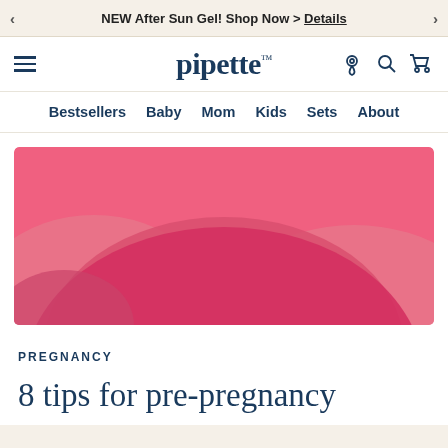NEW After Sun Gel! Shop Now > Details
pipette™ — Bestsellers Baby Mom Kids Sets About
[Figure (illustration): Abstract pink illustration with overlapping rounded arch/hill shapes in varying shades of pink and raspberry, forming a decorative banner image.]
PREGNANCY
8 tips for pre-pregnancy